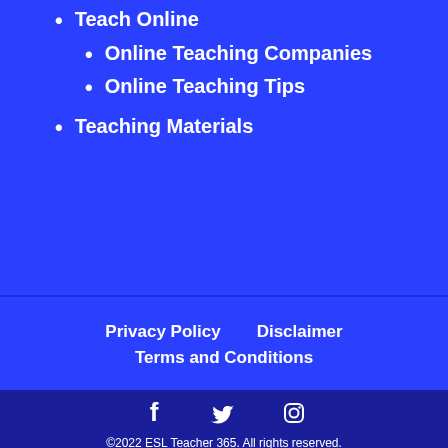Teach Online
Online Teaching Companies
Online Teaching Tips
Teaching Materials
Privacy Policy   Disclaimer   Terms and Conditions
©2022 ESL Teacher 365. All rights reserved.